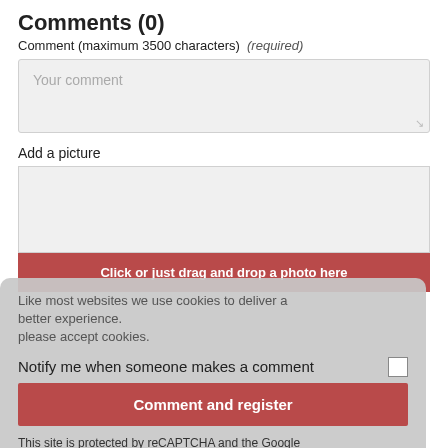Comments (0)
Comment (maximum 3500 characters) (required)
Your comment
Add a picture
[Figure (screenshot): Photo upload area with drag and drop zone]
Click or just drag and drop a photo here
Like most websites we use cookies to deliver a better experience. please accept cookies.
Notify me when someone makes a comment
Comment and register
This site is protected by reCAPTCHA and the Google Privacy Policy and Terms of Service apply.